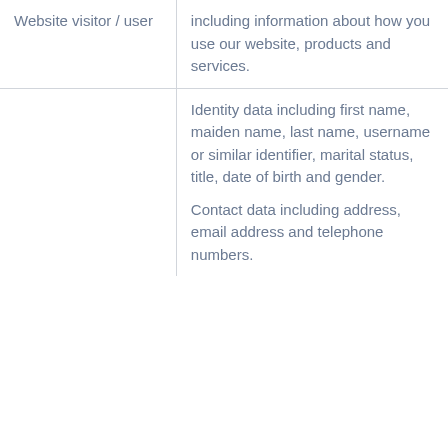| Website visitor / user | including information about how you use our website, products and services. |
|  | Identity data including first name, maiden name, last name, username or similar identifier, marital status, title, date of birth and gender.

Contact data including address, email address and telephone numbers. |